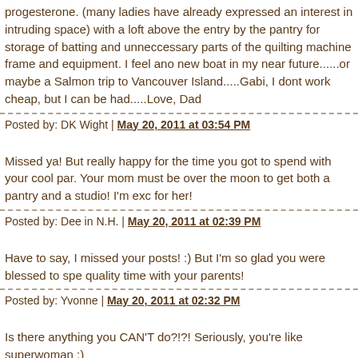progesterone. (many ladies have already expressed an interest in intruding space) with a loft above the entry by the pantry for storage of batting and unneccessary parts of the quilting machine frame and equipment. I feel ano new boat in my near future......or maybe a Salmon trip to Vancouver Island.....Gabi, I dont work cheap, but I can be had.....Love, Dad
Posted by: DK Wight | May 20, 2011 at 03:54 PM
Missed ya! But really happy for the time you got to spend with your cool par. Your mom must be over the moon to get both a pantry and a studio! I'm exc for her!
Posted by: Dee in N.H. | May 20, 2011 at 02:39 PM
Have to say, I missed your posts! :) But I'm so glad you were blessed to spe quality time with your parents!
Posted by: Yvonne | May 20, 2011 at 02:32 PM
Is there anything you CAN'T do?!?! Seriously, you're like superwoman :)
Posted by: Jennifer | May 20, 2011 at 01:37 PM